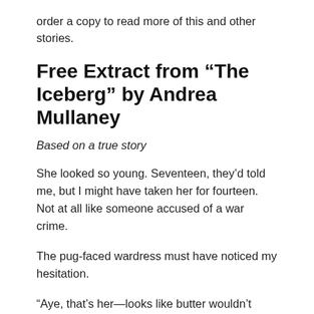order a copy to read more of this and other stories.
Free Extract from “The Iceberg” by Andrea Mullaney
Based on a true story
She looked so young. Seventeen, they’d told me, but I might have taken her for fourteen. Not at all like someone accused of a war crime.
The pug-faced wardress must have noticed my hesitation.
“Aye, that’s her—looks like butter wouldn’t melt, doesn’t she? But don’t be taken in. She’s a hardened liar.”